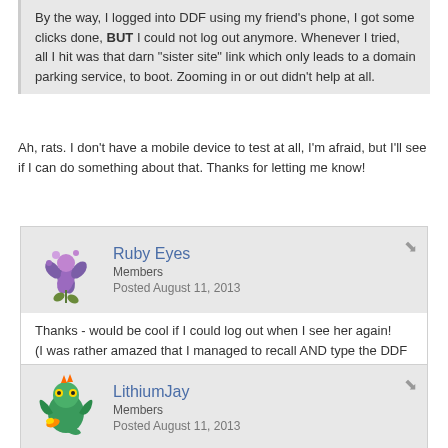By the way, I logged into DDF using my friend's phone, I got some clicks done, BUT I could not log out anymore. Whenever I tried, all I hit was that darn "sister site" link which only leads to a domain parking service, to boot. Zooming in or out didn't help at all.
Ah, rats. I don't have a mobile device to test at all, I'm afraid, but I'll see if I can do something about that. Thanks for letting me know!
Ruby Eyes
Members
Posted August 11, 2013
Thanks - would be cool if I could log out when I see her again!
(I was rather amazed that I managed to recall AND type the DDF address correctly on first try!)
LithiumJay
Members
Posted August 11, 2013
Thanks for the clarification! That explains why it was behaving differently.

A slightly newbie question (somewhat related to DDF) - does a page have to be linked from clicking the element register and does it register on the...